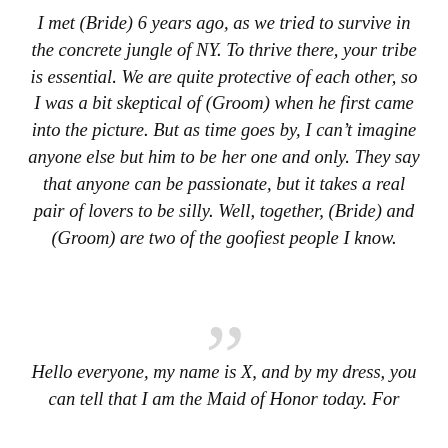I met (Bride) 6 years ago, as we tried to survive in the concrete jungle of NY. To thrive there, your tribe is essential. We are quite protective of each other, so I was a bit skeptical of (Groom) when he first came into the picture. But as time goes by, I can't imagine anyone else but him to be her one and only. They say that anyone can be passionate, but it takes a real pair of lovers to be silly. Well, together, (Bride) and (Groom) are two of the goofiest people I know.
”
Hello everyone, my name is X, and by my dress, you can tell that I am the Maid of Honor today. For